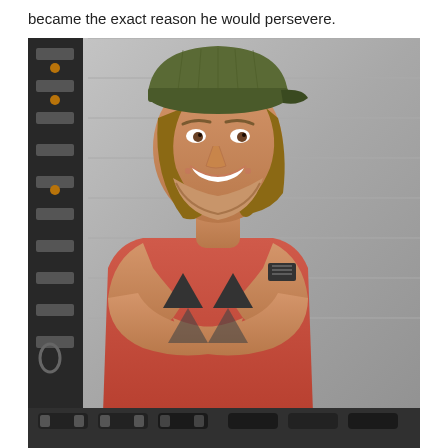became the exact reason he would persevere.
[Figure (photo): A muscular young man with medium-length brown hair wearing a backwards olive green cap and a red t-shirt with a dark logo, standing with arms crossed in a gym setting next to a black squat rack, smiling at the camera. Dumbbells visible in the lower background.]